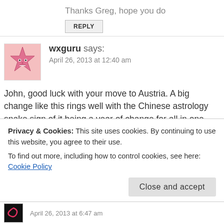Thanks Greg, hope you do
REPLY
wxguru says:
April 26, 2013 at 12:40 am
John, good luck with your move to Austria. A big change like this rings well with the Chinese astrology snake sign of it being a year of change for all in one way or another. I think in Western astrology the planets alignments also support this now. (Can't speak to the solar cycles yet
Privacy & Cookies: This site uses cookies. By continuing to use this website, you agree to their use.
To find out more, including how to control cookies, see here: Cookie Policy
Close and accept
April 26, 2013 at 6:47 am